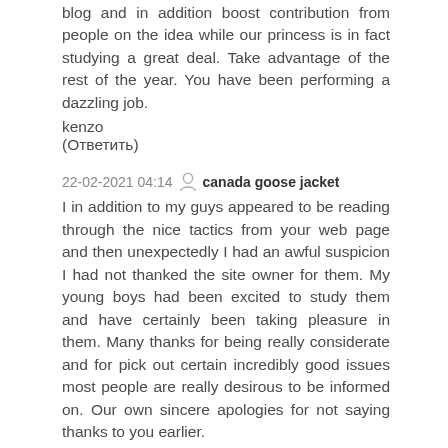blog and in addition boost contribution from people on the idea while our princess is in fact studying a great deal. Take advantage of the rest of the year. You have been performing a dazzling job.
kenzo
(Ответить)
22-02-2021 04:14  canada goose jacket
I in addition to my guys appeared to be reading through the nice tactics from your web page and then unexpectedly I had an awful suspicion I had not thanked the site owner for them. My young boys had been excited to study them and have certainly been taking pleasure in them. Many thanks for being really considerate and for pick out certain incredibly good issues most people are really desirous to be informed on. Our own sincere apologies for not saying thanks to you earlier.
canada goose jacket